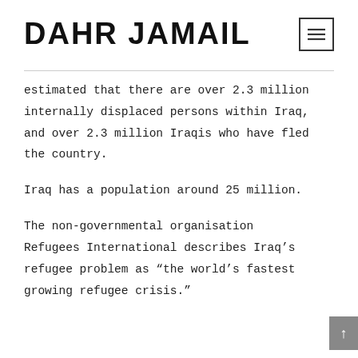DAHR JAMAIL
estimated that there are over 2.3 million internally displaced persons within Iraq, and over 2.3 million Iraqis who have fled the country.
Iraq has a population around 25 million.
The non-governmental organisation Refugees International describes Iraq’s refugee problem as “the world’s fastest growing refugee crisis.”